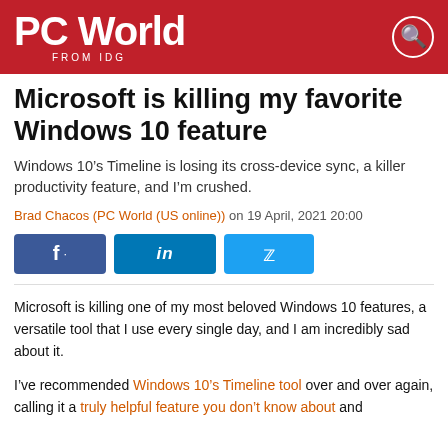PC World FROM IDG
Microsoft is killing my favorite Windows 10 feature
Windows 10’s Timeline is losing its cross-device sync, a killer productivity feature, and I’m crushed.
Brad Chacos (PC World (US online)) on 19 April, 2021 20:00
[Figure (other): Social share buttons: Facebook, LinkedIn, Twitter]
Microsoft is killing one of my most beloved Windows 10 features, a versatile tool that I use every single day, and I am incredibly sad about it.
I’ve recommended Windows 10’s Timeline tool over and over again, calling it a truly helpful feature you don’t know about and